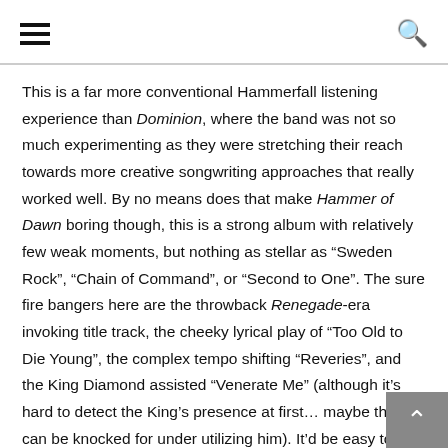[hamburger menu] [search icon]
This is a far more conventional Hammerfall listening experience than Dominion, where the band was not so much experimenting as they were stretching their reach towards more creative songwriting approaches that really worked well. By no means does that make Hammer of Dawn boring though, this is a strong album with relatively few weak moments, but nothing as stellar as “Sweden Rock”, “Chain of Command”, or “Second to One”. The sure fire bangers here are the throwback Renegade-era invoking title track, the cheeky lyrical play of “Too Old to Die Young”, the complex tempo shifting “Reveries”, and the King Diamond assisted “Venerate Me” (although it’s hard to detect the King’s presence at first… maybe they can be knocked for under utilizing him). It’d be easy to think that simply being a Hammerfall fan means you’ll